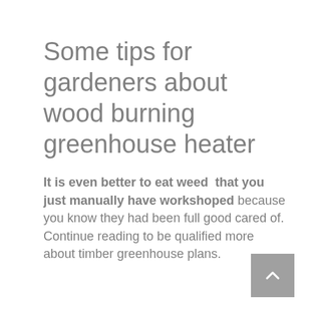Some tips for gardeners about wood burning greenhouse heater
It is even better to eat weed  that you just manually have workshoped because you know they had been full good cared of. Continue reading to be qualified more about timber greenhouse plans.